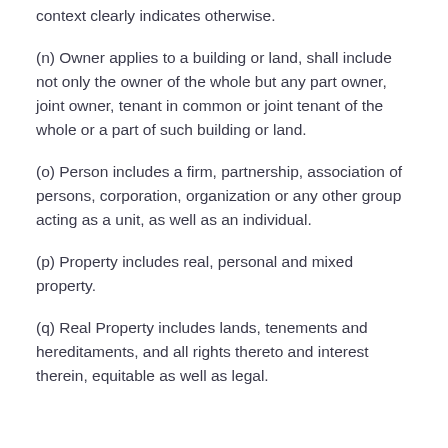context clearly indicates otherwise.
(n) Owner applies to a building or land, shall include not only the owner of the whole but any part owner, joint owner, tenant in common or joint tenant of the whole or a part of such building or land.
(o) Person includes a firm, partnership, association of persons, corporation, organization or any other group acting as a unit, as well as an individual.
(p) Property includes real, personal and mixed property.
(q) Real Property includes lands, tenements and hereditaments, and all rights thereto and interest therein, equitable as well as legal.